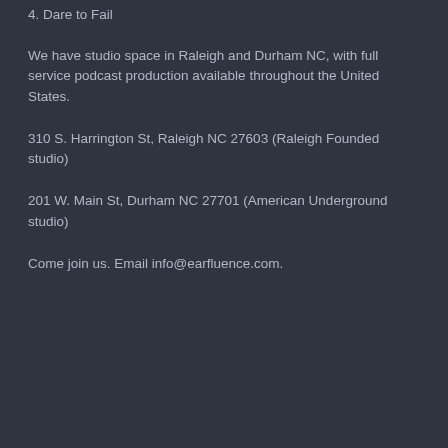4. Dare to Fail
We have studio space in Raleigh and Durham NC, with full service podcast production available throughout the United States.
310 S. Harrington St, Raleigh NC 27603 (Raleigh Founded studio)
201 W. Main St, Durham NC 27701 (American Underground studio)
Come join us. Email info@earfluence.com.